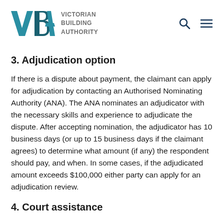Victorian Building Authority
3. Adjudication option
If there is a dispute about payment, the claimant can apply for adjudication by contacting an Authorised Nominating Authority (ANA). The ANA nominates an adjudicator with the necessary skills and experience to adjudicate the dispute. After accepting nomination, the adjudicator has 10 business days (or up to 15 business days if the claimant agrees) to determine what amount (if any) the respondent should pay, and when. In some cases, if the adjudicated amount exceeds $100,000 either party can apply for an adjudication review.
4. Court assistance